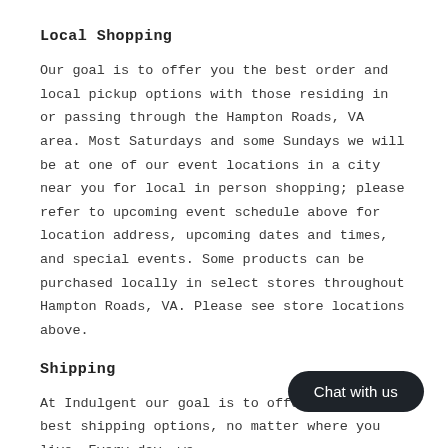Local Shopping
Our goal is to offer you the best order and local pickup options with those residing in or passing through the Hampton Roads, VA area. Most Saturdays and some Sundays we will be at one of our event locations in a city near you for local in person shopping; please refer to upcoming event schedule above for location address, upcoming dates and times, and special events. Some products can be purchased locally in select stores throughout Hampton Roads, VA. Please see store locations above.
Shipping
At Indulgent our goal is to offer you the best shipping options, no matter where you live. Every day, we